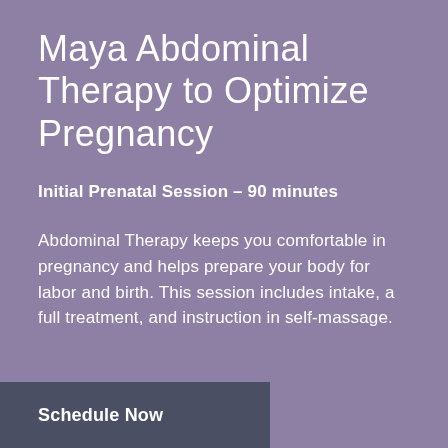Maya Abdominal Therapy to Optimize Pregnancy
Initial Prenatal Session – 90 minutes
Abdominal Therapy keeps you comfortable in pregnancy and helps prepare your body for labor and birth. This session includes intake, a full treatment, and instruction in self-massage.
Schedule Now